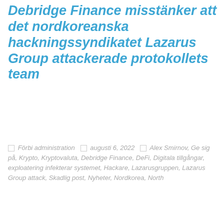Debridge Finance misstänker att det nordkoreanska hackningssyndikatet Lazarus Group attackerade protokollets team
Förbi administration  augusti 6, 2022  Alex Smirnov, Ge sig på, Krypto, Kryptovaluta, Debridge Finance, DeFi, Digitala tillgångar, exploatering infekterar systemet, Hackare, Lazarusgruppen, Lazarus Group attack, Skadlig post, Nyheter, Nordkorea, North...
Vi använder cookies på vår webbplats för att ge dig den mest relevanta upplevelsen genom att komma ihåg dina preferenser och upprepade besök. Genom att klicka på "Acceptera", du samtycker till användningen av ALLA cookies.
Sälj inte min personliga information.